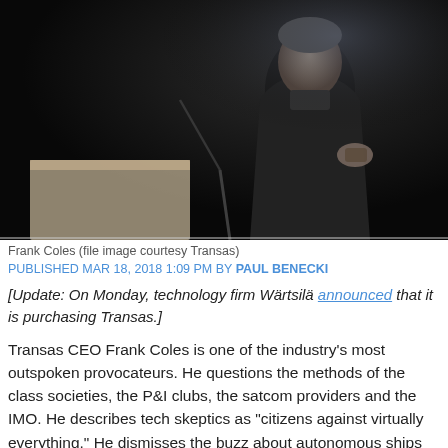[Figure (photo): Frank Coles standing at a podium/lectern in a dark suit and black turtleneck, holding a device, speaking at an event against a dark background.]
Frank Coles (file image courtesy Transas)
PUBLISHED MAR 18, 2018 1:09 PM BY PAUL BENECKI
[Update: On Monday, technology firm Wärtsilä announced that it is purchasing Transas.]
Transas CEO Frank Coles is one of the industry's most outspoken provocateurs. He questions the methods of the class societies, the P&I clubs, the satcom providers and the IMO. He describes tech skeptics as "citizens against virtually everything." He dismisses the buzz about autonomous ships and promotes technology as a means